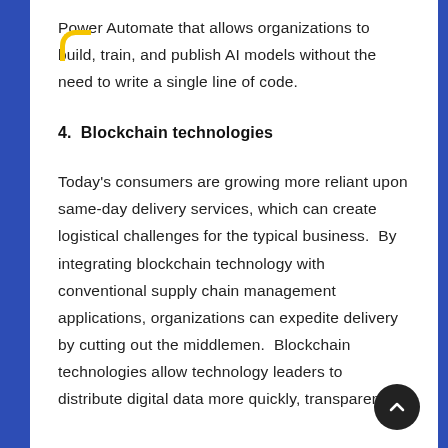Power Platform offers an AI Builder feature in Power Automate that allows organizations to build, train, and publish AI models without the need to write a single line of code.
4.  Blockchain technologies
Today's consumers are growing more reliant upon same-day delivery services, which can create logistical challenges for the typical business.  By integrating blockchain technology with conventional supply chain management applications, organizations can expedite delivery by cutting out the middlemen.  Blockchain technologies allow technology leaders to distribute digital data more quickly, transparently,